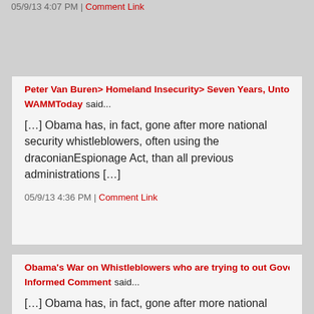05/9/13 4:07 PM | Comment Link
Peter Van Buren> Homeland Insecurity> Seven Years, Untold Do…
WAMMToday said...
[…] Obama has, in fact, gone after more national security whistleblowers, often using the draconianEspionage Act, than all previous administrations […]
05/9/13 4:36 PM | Comment Link
Obama's War on Whistleblowers who are trying to out Governme…
Informed Comment said...
[…] Obama has, in fact, gone after more national security whistleblowers, often using the draconian Espionage Act, than all previous administrations […]